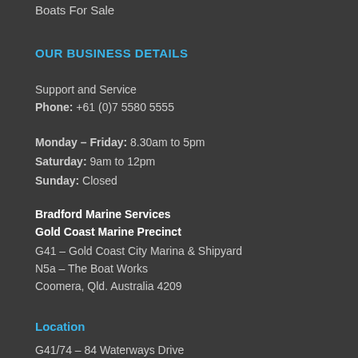Boats For Sale
OUR BUSINESS DETAILS
Support and Service
Phone: +61 (0)7 5580 5555
Monday – Friday: 8.30am to 5pm
Saturday: 9am to 12pm
Sunday: Closed
Bradford Marine Services
Gold Coast Marine Precinct
G41 – Gold Coast City Marina & Shipyard
N5a – The Boat Works
Coomera, Qld. Australia 4209
Location
G41/74 – 84 Waterways Drive